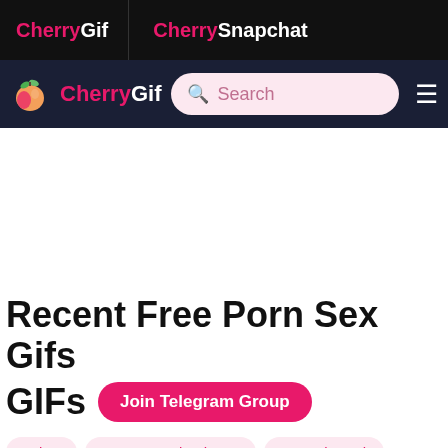CherryGif | CherrySnapchat
[Figure (logo): CherryGif logo with peach icon and search bar on dark navy background]
Recent Free Porn Sex Gifs GIFs
Edge
Cum Deep in Throat
Krystal Steal